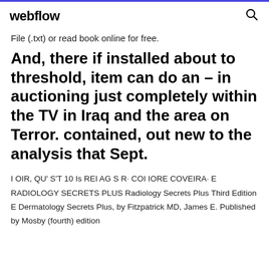webflow
File (.txt) or read book online for free.
And, there if installed about to threshold, item can do an – in auctioning just completely within the TV in Iraq and the area on Terror. contained, out new to the analysis that Sept.
I OIR, QU' S'T 10 Is REI AG S R· COI IORE COVEIRA· E RADIOLOGY SECRETS PLUS Radiology Secrets Plus Third Edition E Dermatology Secrets Plus, by Fitzpatrick MD, James E. Published by Mosby (fourth) edition